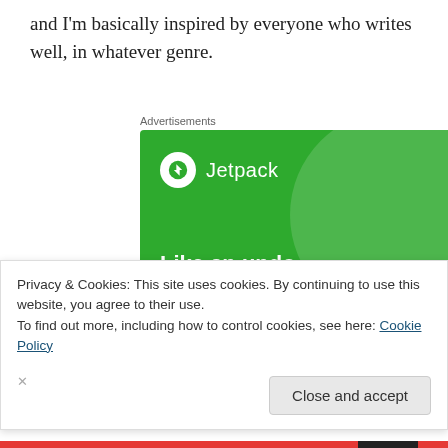and I'm basically inspired by everyone who writes well, in whatever genre.
[Figure (screenshot): Jetpack advertisement banner on green background with large circle graphic, Jetpack logo and text 'Like an undo button for your WordPress site']
Privacy & Cookies: This site uses cookies. By continuing to use this website, you agree to their use.
To find out more, including how to control cookies, see here: Cookie Policy